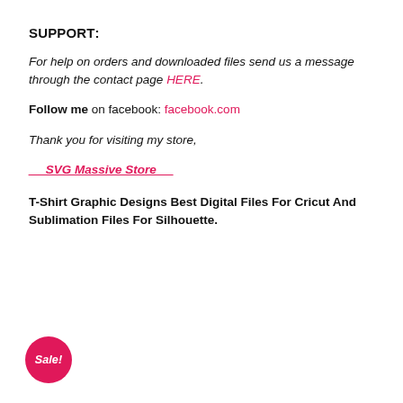SUPPORT:
For help on orders and downloaded files send us a message through the contact page HERE.
Follow me on facebook: facebook.com
Thank you for visiting my store,
_ _SVG Massive Store_ _
T-Shirt Graphic Designs Best Digital Files For Cricut And Sublimation Files For Silhouette.
[Figure (illustration): Pink circular Sale! badge in bottom-left corner]